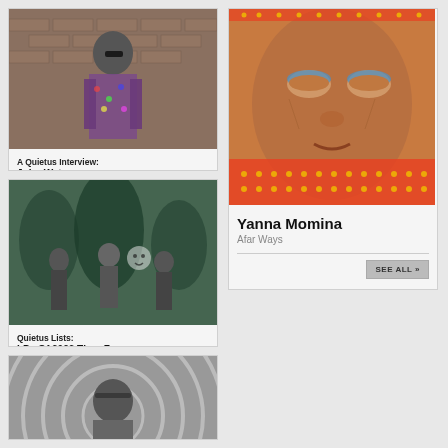[Figure (photo): Man in colorful patterned jacket standing against a brick wall, wearing sunglasses — John Waters]
A Quietus Interview: John Waters
[Figure (photo): Black and white vintage photo of figures/puppets in a forest or outdoor scene — Quietus Lists]
Quietus Lists: LPs Of 2022 Thus Far
[Figure (photo): Black and white portrait of a woman with headband against circular background]
[Figure (photo): Close-up portrait of an elderly woman with distinctive blue eye makeup and orange/red dotted textile — Yanna Momina]
Yanna Momina
Afar Ways
SEE ALL »